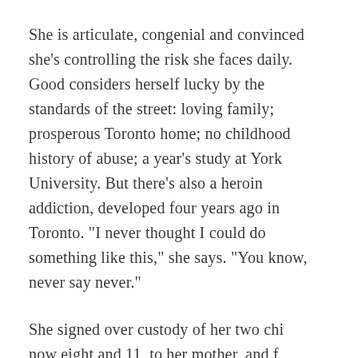She is articulate, congenial and convinced she's controlling the risk she faces daily. Good considers herself lucky by the standards of the street: loving family; prosperous Toronto home; no childhood history of abuse; a year's study at York University. But there's also a heroin addiction, developed four years ago in Toronto. "I never thought I could do something like this," she says. "You know, never say never."
She signed over custody of her two children, now eight and 11, to her mother, and fled Vancouver. "I had to put distance between the people I loved and this addiction," she says. "I